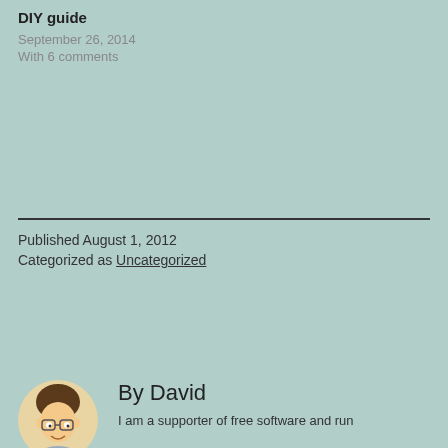DIY guide
September 26, 2014
With 6 comments
Published August 1, 2012
Categorized as Uncategorized
By David
I am a supporter of free software and run